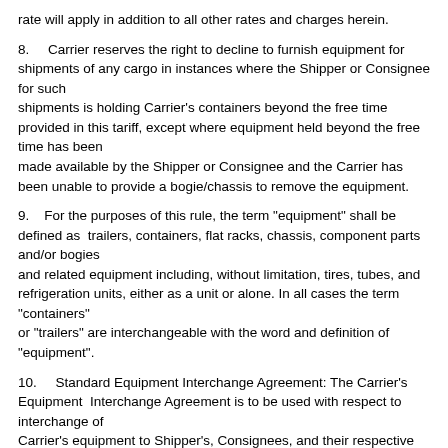rate will apply in addition to all other rates and charges herein.
8.    Carrier reserves the right to decline to furnish equipment for shipments of any cargo in instances where the Shipper or Consignee for such shipments is holding Carrier's containers beyond the free time provided in this tariff, except where equipment held beyond the free time has been made available by the Shipper or Consignee and the Carrier has been unable to provide a bogie/chassis to remove the equipment.
9.    For the purposes of this rule, the term "equipment" shall be defined as  trailers, containers, flat racks, chassis, component parts and/or bogies and related equipment including, without limitation, tires, tubes, and refrigeration units, either as a unit or alone. In all cases the term "containers" or "trailers" are interchangeable with the word and definition of "equipment".
10.    Standard Equipment Interchange Agreement: The Carrier's Equipment  Interchange Agreement is to be used with respect to interchange of Carrier's equipment to Shipper's, Consignees, and their respective Agents. All storage and detention charges are without exception, pursuant to the provision of this Rule.